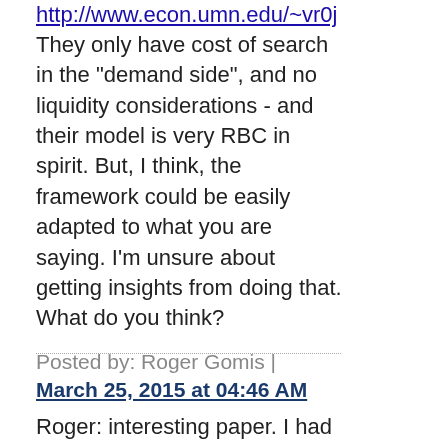http://www.econ.umn.edu/~vr0j
They only have cost of search in the "demand side", and no liquidity considerations - and their model is very RBC in spirit. But, I think, the framework could be easily adapted to what you are saying. I'm unsure about getting insights from doing that. What do you think?
Posted by: Roger Gomis | March 25, 2015 at 04:46 AM
Roger: interesting paper. I had a very quick skim. Here is a very simplified version of what I *think* is going on: